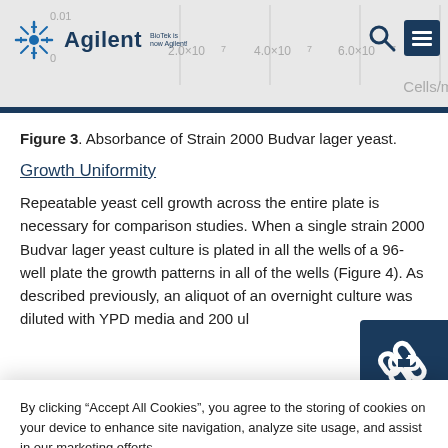Agilent Technologies header with chart background
Figure 3. Absorbance of Strain 2000 Budvar lager yeast.
Growth Uniformity
Repeatable yeast cell growth across the entire plate is necessary for comparison studies. When a single strain 2000 Budvar lager yeast culture is plated in all the wells of a 96-well plate the growth patterns in all of the wells (Figure 4). As described previously, an aliquot of an overnight culture was diluted with YPD media and 200 ul
By clicking “Accept All Cookies”, you agree to the storing of cookies on your device to enhance site navigation, analyze site usage, and assist in our marketing efforts.
Accept All Cookies
Cookies Settings